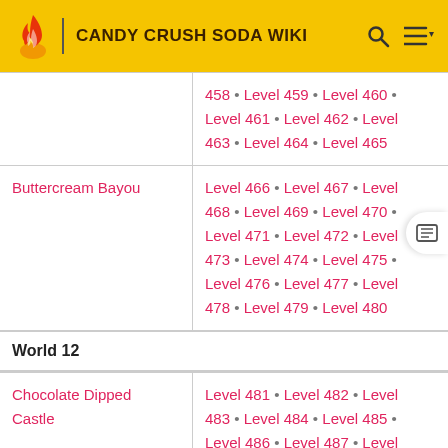CANDY CRUSH SODA WIKI
| Area | Levels |
| --- | --- |
| (continued) | 458 • Level 459 • Level 460 • Level 461 • Level 462 • Level 463 • Level 464 • Level 465 |
| Buttercream Bayou | Level 466 • Level 467 • Level 468 • Level 469 • Level 470 • Level 471 • Level 472 • Level 473 • Level 474 • Level 475 • Level 476 • Level 477 • Level 478 • Level 479 • Level 480 |
World 12
| Area | Levels |
| --- | --- |
| Chocolate Dipped Castle | Level 481 • Level 482 • Level 483 • Level 484 • Level 485 • Level 486 • Level 487 • Level 488 • Level 489 • Level 490 • Level 491 • Level 492 • Level 493 • Level 494 • Level 495 |